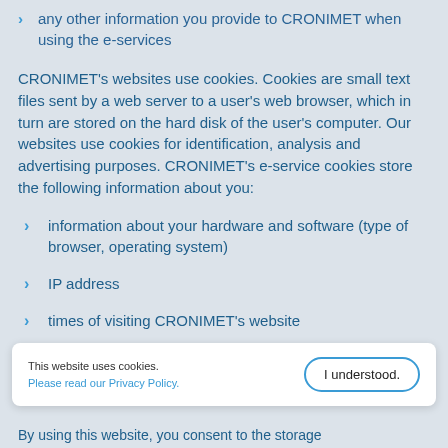any other information you provide to CRONIMET when using the e-services
CRONIMET's websites use cookies. Cookies are small text files sent by a web server to a user's web browser, which in turn are stored on the hard disk of the user's computer. Our websites use cookies for identification, analysis and advertising purposes. CRONIMET's e-service cookies store the following information about you:
information about your hardware and software (type of browser, operating system)
IP address
times of visiting CRONIMET's website
This website uses cookies. Please read our Privacy Policy.
By using this website, you consent to the storage